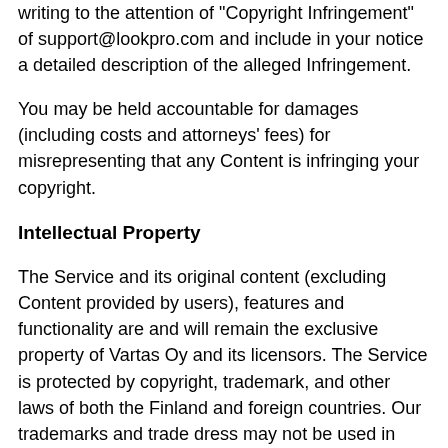writing to the attention of "Copyright Infringement" of support@lookpro.com and include in your notice a detailed description of the alleged Infringement.
You may be held accountable for damages (including costs and attorneys' fees) for misrepresenting that any Content is infringing your copyright.
Intellectual Property
The Service and its original content (excluding Content provided by users), features and functionality are and will remain the exclusive property of Vartas Oy and its licensors. The Service is protected by copyright, trademark, and other laws of both the Finland and foreign countries. Our trademarks and trade dress may not be used in connection with any product or service without the prior written consent of Vartas Oy.
Links To Other Web Sites
Our Service may contain links to third-party web sites or